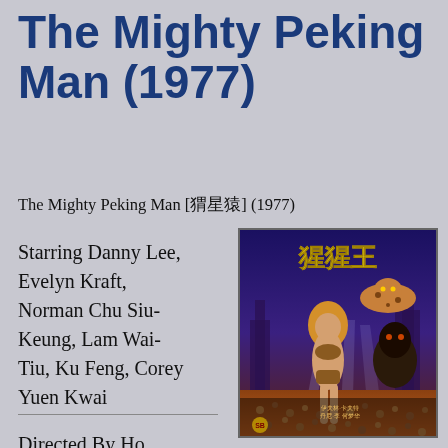The Mighty Peking Man (1977)
The Mighty Peking Man [猩猩王] (1977)
Starring Danny Lee, Evelyn Kraft, Norman Chu Siu-Keung, Lam Wai-Tiu, Ku Feng, Corey Yuen Kwai
[Figure (illustration): Movie poster for The Mighty Peking Man (1977) showing Chinese characters 猩猩王, a blonde woman in leopard print bikini, a giant ape, and a leopard, with searchlights and crowds in background]
Directed By Ho Meng-Hua